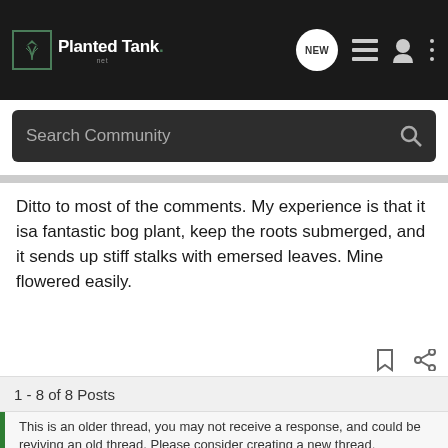PlantedTank — Navigation bar with logo, NEW button, list icon, user icon, more icon
Search Community
Ditto to most of the comments. My experience is that it isa fantastic bog plant, keep the roots submerged, and it sends up stiff stalks with emersed leaves. Mine flowered easily.
1 - 8 of 8 Posts
This is an older thread, you may not receive a response, and could be reviving an old thread. Please consider creating a new thread.